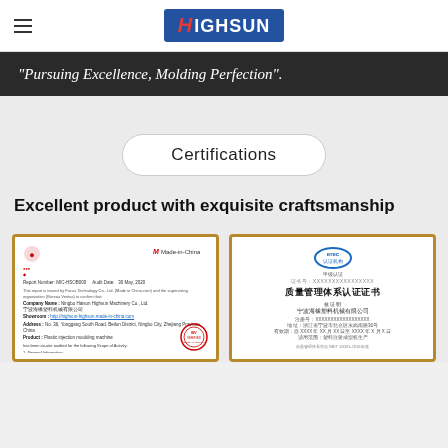HIGHSUN
"Pursuing Excellence, Molding Perfection".
Certifications
Excellent product with exquisite craftsmanship
[Figure (photo): Made-in-China audit report certificate with red logo and company details]
[Figure (photo): Quality Management System certificate (质量管理体系认证证书) issued to 宁波海橡塑料机械有限公司 with erce logo]